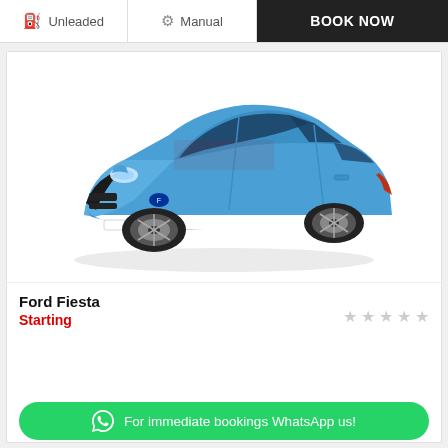Unleaded
Manual
BOOK NOW
[Figure (photo): Blue Ford Fiesta hatchback car, 3/4 front view on white background]
Ford Fiesta
★ ★ ★ ★ ★ (empty stars)
Starting
For immediate bookings WhatsApp us!